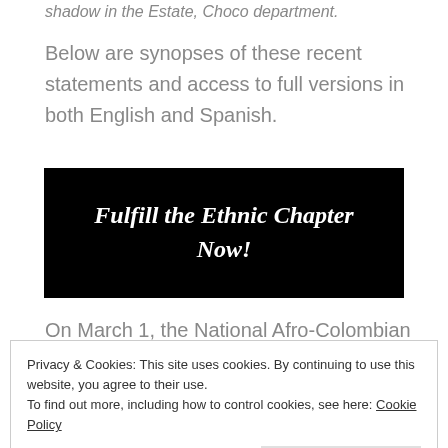shadow in the Estate, Choco department.
Below are synopses of these recent statements and access to full versions in both English and Spanish.
[Figure (other): Black banner image with italic bold white text reading 'Fulfill the Ethnic Chapter Now!']
On March 1, the National Afro-Colombian
Privacy & Cookies: This site uses cookies. By continuing to use this website, you agree to their use.
To find out more, including how to control cookies, see here: Cookie Policy
Close and accept